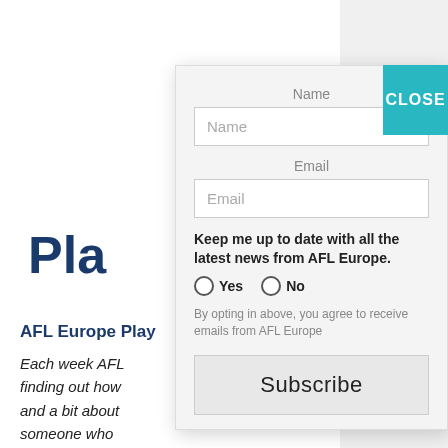Pla
Octo
AFL Europe Play
Each week AFL finding out how and a bit about someone who receive a questio
Name
Name
Email
Email
Keep me up to date with all the latest news from AFL Europe.
Yes  No
By opting in above, you agree to receive emails from AFL Europe
Subscribe
CLOSE